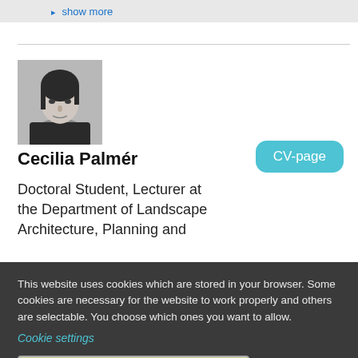▸ show more
[Figure (photo): Black and white headshot photo of Cecilia Palmér]
Cecilia Palmér
CV-page
Doctoral Student, Lecturer at the Department of Landscape Architecture, Planning and
This website uses cookies which are stored in your browser. Some cookies are necessary for the website to work properly and others are selectable. You choose which ones you want to allow.
Cookie settings
Allow only necessary cookies
Allow all cookies